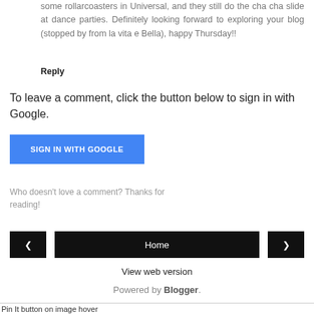some rollarcoasters in Universal, and they still do the cha cha slide at dance parties. Definitely looking forward to exploring your blog (stopped by from la vita e Bella), happy Thursday!!
Reply
To leave a comment, click the button below to sign in with Google.
[Figure (other): Blue 'SIGN IN WITH GOOGLE' button]
Who doesn't love a comment? Thanks for reading!
[Figure (other): Navigation bar with left arrow button, Home button, and right arrow button]
View web version
Powered by Blogger.
Pin It button on image hover